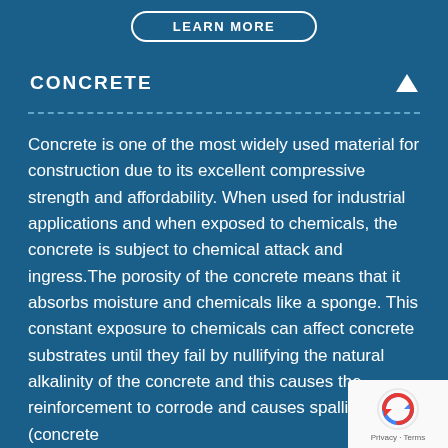[Figure (other): LEARN MORE button with rounded border at the top]
CONCRETE
Concrete is one of the most widely used material for construction due to its excellent compressive strength and affordability. When used for industrial applications and when exposed to chemicals, the concrete is subject to chemical attack and ingress.The porosity of the concrete means that it absorbs moisture and chemicals like a sponge. This constant exposure to chemicals can affect concrete substrates until they fail by nullifying the natural alkalinity of the concrete and this causes the reinforcement to corrode and causes spalling (concrete